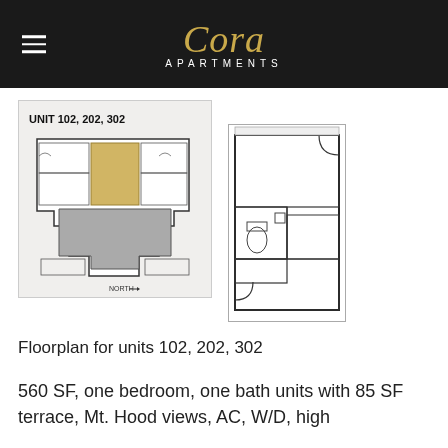Cora APARTMENTS
[Figure (schematic): Building floor plan overview showing units 102, 202, 302 highlighted in gold/brown on a full building layout with NORTH indicator]
[Figure (schematic): Detailed unit floor plan showing one bedroom one bath layout with terrace]
Floorplan for units 102, 202, 302
560 SF, one bedroom, one bath units with 85 SF terrace, Mt. Hood views, AC, W/D, high